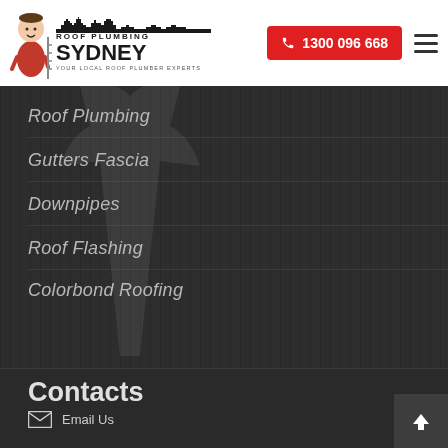[Figure (logo): Roof Plumbing Sydney logo with mascot character, skyline graphic, and text 'ROOF PLUMBING SYDNEY - YOUR LOCAL ROOF PLUMBER EXPERTS']
1300 096 668
Roof Plumbing
Gutters Fascia
Downpipes
Roof Flashing
Colorbond Roofing
Contacts
Email Us